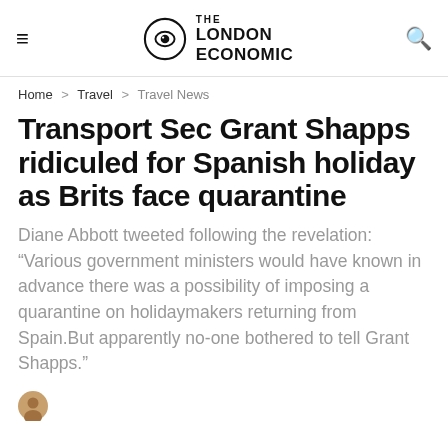THE LONDON ECONOMIC
Home > Travel > Travel News
Transport Sec Grant Shapps ridiculed for Spanish holiday as Brits face quarantine
Diane Abbott tweeted following the revelation: “Various government ministers would have known in advance there was a possibility of imposing a quarantine on holidaymakers returning from Spain.But apparently no-one bothered to tell Grant Shapps.”